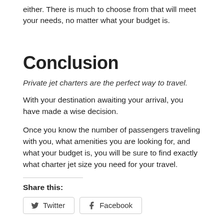either. There is much to choose from that will meet your needs, no matter what your budget is.
Conclusion
Private jet charters are the perfect way to travel.
With your destination awaiting your arrival, you have made a wise decision.
Once you know the number of passengers traveling with you, what amenities you are looking for, and what your budget is, you will be sure to find exactly what charter jet size you need for your travel.
Share this:
Twitter  Facebook